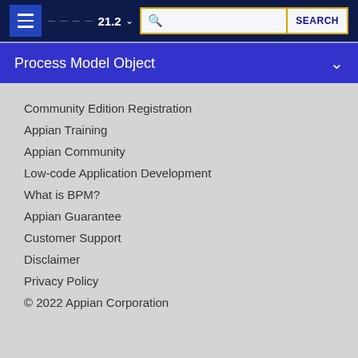21.2 | SEARCH
Process Model Object
Community Edition Registration
Appian Training
Appian Community
Low-code Application Development
What is BPM?
Appian Guarantee
Customer Support
Disclaimer
Privacy Policy
© 2022 Appian Corporation